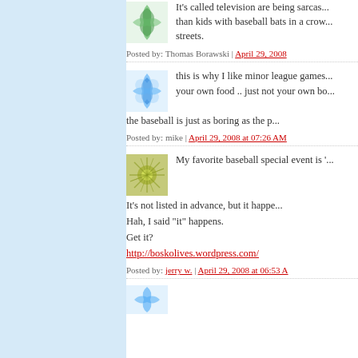[Figure (illustration): Decorative avatar icon with green wave/feather pattern on white background]
It's called television are being sarcas... than kids with baseball bats in a crow... streets.
Posted by: Thomas Borawski | April 29, 2008
[Figure (illustration): Decorative avatar icon with blue wave/feather pattern]
this is why I like minor league games... your own food .. just not your own bo...
the baseball is just as boring as the p...
Posted by: mike | April 29, 2008 at 07:26 AM
[Figure (illustration): Decorative avatar icon with green starburst/sunburst pattern on olive background]
My favorite baseball special event is '...
It's not listed in advance, but it happe...
Hah, I said "it" happens.
Get it?
http://boskolives.wordpress.com/
Posted by: jerry w. | April 29, 2008 at 06:53 A...
[Figure (illustration): Decorative avatar icon with blue wave pattern, partially visible at bottom]